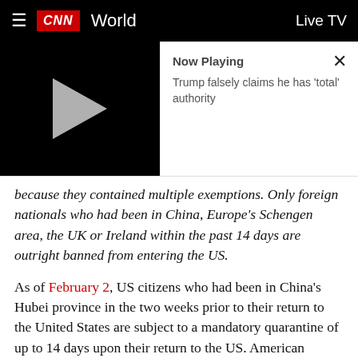CNN World | Live TV
[Figure (screenshot): Video player thumbnail showing play button on black background with 'Now Playing' panel: 'Trump falsely claims he has total authority']
because they contained multiple exemptions. Only foreign nationals who had been in China, Europe's Schengen area, the UK or Ireland within the past 14 days are outright banned from entering the US.
As of February 2, US citizens who had been in China's Hubei province in the two weeks prior to their return to the United States are subject to a mandatory quarantine of up to 14 days upon their return to the US. American citizens returning from the rest of mainland China may also face up to 14 days of quarantine after undergoing health screenings at selected ports of entry.